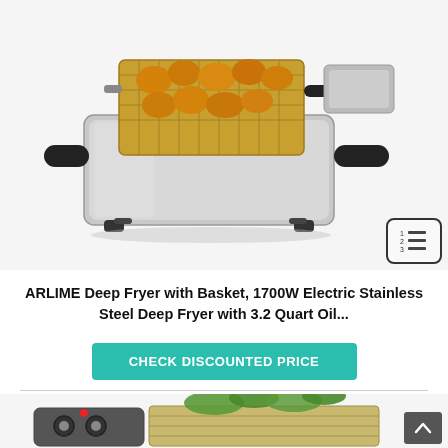[Figure (photo): ARLIME Deep Fryer with Basket — stainless steel deep fryer with wire basket containing golden fried chicken pieces, black handles, and a digital display panel on the right side]
ARLIME Deep Fryer with Basket, 1700W Electric Stainless Steel Deep Fryer with 3.2 Quart Oil...
CHECK DISCOUNTED PRICE
[Figure (photo): Partial view of a second deep fryer / electric grill product with control knobs on the left and a wire basket with food items on the right]